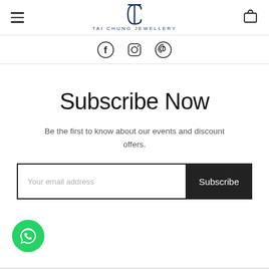TAI CHUNG JEWELLERY
[Figure (logo): Tai Chung Jewellery logo with TC monogram and brand name]
[Figure (infographic): Social media icons row: Facebook, Instagram, Pinterest]
Subscribe Now
Be the first to know about our events and discount offers.
[Figure (screenshot): Email subscription form with 'Your email address' input and 'Subscribe' button]
[Figure (infographic): WhatsApp chat button (green circle with WhatsApp icon)]